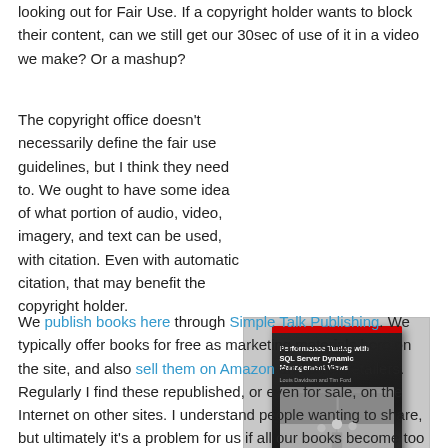looking out for Fair Use. If a copyright holder wants to block their content, can we still get our 30sec of use of it in a video we make? Or a mashup?
The copyright office doesn't necessarily define the fair use guidelines, but I think they need to. We ought to have some idea of what portion of audio, video, imagery, and text can be used, with citation. Even with automatic citation, that may benefit the copyright holder.
[Figure (photo): Book cover: 'Performance Tuning with SQL Server Dynamic Management Views' by Louis Davidson and Tim Ford, dark cover with photo of a road with lamp posts.]
We publish books here through Simple Talk Publishing. We typically offer books for free as marketing materials here on the site, and also sell them on Amazon and other retailers. Regularly I find these republished, or even for sale, on the Internet on other sites. I understand people wanting to share, but ultimately it's a problem for us if all our books become too widely distributed for free. I know there are a lot of debates on piracy, and I'm not completely sure where I stand. I don't actively worry about piracy, but I do act to have things removed when I find it.